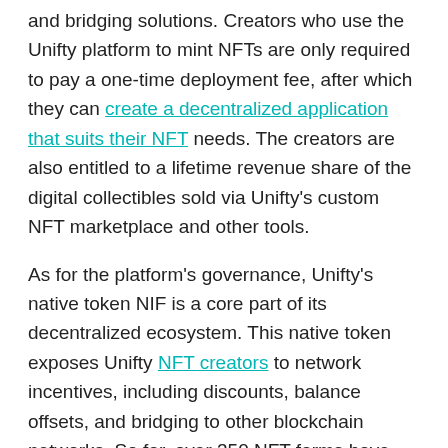and bridging solutions. Creators who use the Unifty platform to mint NFTs are only required to pay a one-time deployment fee, after which they can create a decentralized application that suits their NFT needs. The creators are also entitled to a lifetime revenue share of the digital collectibles sold via Unifty's custom NFT marketplace and other tools.
As for the platform's governance, Unifty's native token NIF is a core part of its decentralized ecosystem. This native token exposes Unifty NFT creators to network incentives, including discounts, balance offsets, and bridging to other blockchain networks. So far, over 350 NFT farms have been created via Unifty, while close to 600 NFT-oriented contracts have been deployed.